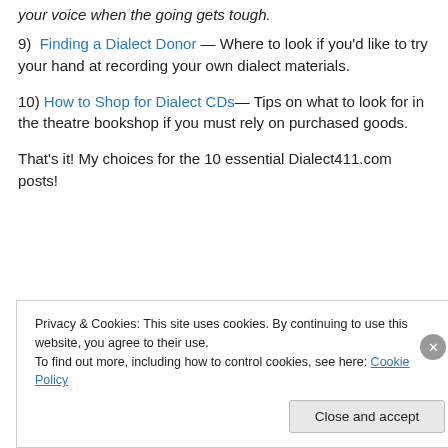your voice when the going gets tough.
9)  Finding a Dialect Donor — Where to look if you'd like to try your hand at recording your own dialect materials.
10) How to Shop for Dialect CDs— Tips on what to look for in the theatre bookshop if you must rely on purchased goods.
That's it! My choices for the 10 essential Dialect411.com posts!
Privacy & Cookies: This site uses cookies. By continuing to use this website, you agree to their use.
To find out more, including how to control cookies, see here: Cookie Policy